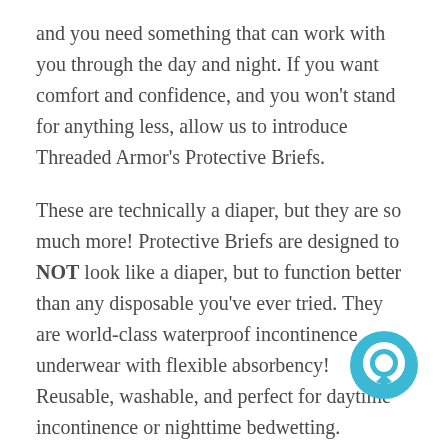and you need something that can work with you through the day and night. If you want comfort and confidence, and you won't stand for anything less, allow us to introduce  Threaded Armor's Protective Briefs.
These are technically a diaper, but they are so much more! Protective Briefs are designed to NOT look like a diaper, but to function better than any disposable you've ever tried. They are world-class waterproof incontinence underwear with flexible absorbency! Reusable, washable, and perfect for daytime incontinence or nighttime bedwetting.
Protective Briefs are for men and woman. Although the pattern does not change for gender, they are perfectly oriented for male incontinence
[Figure (illustration): Teal/blue circular chat bubble icon in the lower right corner of the page]